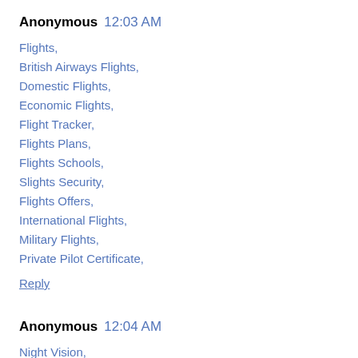Anonymous 12:03 AM
Flights,
British Airways Flights,
Domestic Flights,
Economic Flights,
Flight Tracker,
Flights Plans,
Flights Schools,
Slights Security,
Flights Offers,
International Flights,
Military Flights,
Private Pilot Certificate,
Reply
Anonymous 12:04 AM
Night Vision,
Night Vision Binoculars, With the proper night-vision equipment...